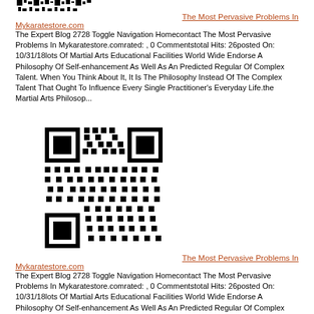[Figure (other): QR code image partially visible at top of page]
The Most Pervasive Problems In Mykaratestore.com
The Expert Blog 2728 Toggle Navigation Homecontact The Most Pervasive Problems In Mykaratestore.comrated: , 0 Commentstotal Hits: 26posted On: 10/31/18lots Of Martial Arts Educational Facilities World Wide Endorse A Philosophy Of Self-enhancement As Well As An Predicted Regular Of Complex Talent. When You Think About It, It Is The Philosophy Instead Of The Complex Talent That Ought To Influence Every Single Practitioner's Everyday Life.the Martial Arts Philosop...
[Figure (other): QR code image in center of page]
The Most Pervasive Problems In Mykaratestore.com
The Expert Blog 2728 Toggle Navigation Homecontact The Most Pervasive Problems In Mykaratestore.comrated: , 0 Commentstotal Hits: 26posted On: 10/31/18lots Of Martial Arts Educational Facilities World Wide Endorse A Philosophy Of Self-enhancement As Well As An Predicted Regular Of Complex Talent. When You Think About It, It Is The Philosophy Instead Of The Complex Talent That Ought To Influence Every Single Practitioner's Everyday Life.the Martial Arts Philosop...
[Figure (other): QR code image partially visible at bottom of page]